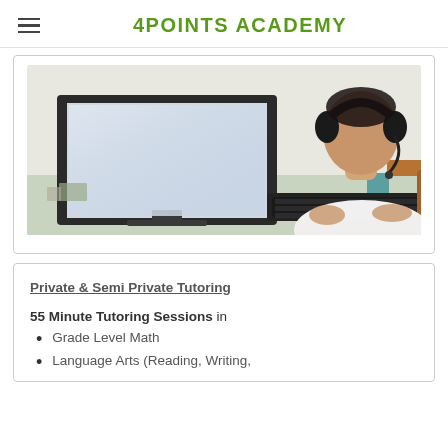4POINTS ACADEMY
[Figure (photo): Student sitting at a desk with a large monitor and keyboard, wearing black headphones with a microphone, viewed from behind, in a white shirt on a wooden chair.]
Private & Semi Private Tutoring
55 Minute Tutoring Sessions in
Grade Level Math
Language Arts (Reading, Writing,